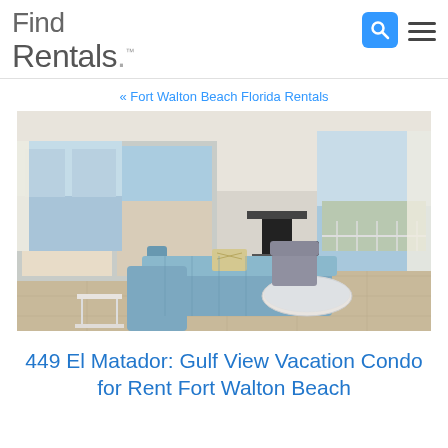Find Rentals
« Fort Walton Beach Florida Rentals
[Figure (photo): Interior photo of a beach condo living room with blue sectional sofa, glass coffee table, mirrored wall reflecting ocean view, and sliding glass door opening to balcony with gulf view]
449 El Matador: Gulf View Vacation Condo for Rent Fort Walton Beach